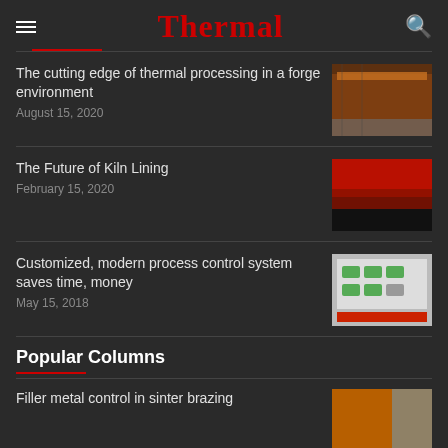Thermal
The cutting edge of thermal processing in a forge environment
August 15, 2020
The Future of Kiln Lining
February 15, 2020
Customized, modern process control system saves time, money
May 15, 2018
Popular Columns
Filler metal control in sinter brazing